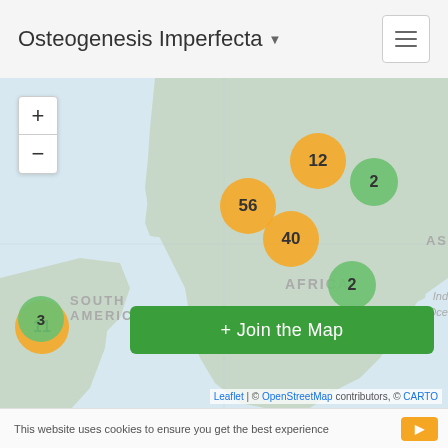Osteogenesis Imperfecta
[Figure (map): Interactive world map showing geographic distribution of Osteogenesis Imperfecta patient clusters. Yellow circles indicate larger clusters (11, 12, 40, 56) and green circles indicate smaller clusters (2, 2, 3). Regions visible include Europe, Africa, South America, and Asia. Labels show AFRICA, SOUTH AMERICA, AS (Asia partial).]
+ Join the Map
Leaflet | © OpenStreetMap contributors, © CARTO
This website uses cookies to ensure you get the best experience